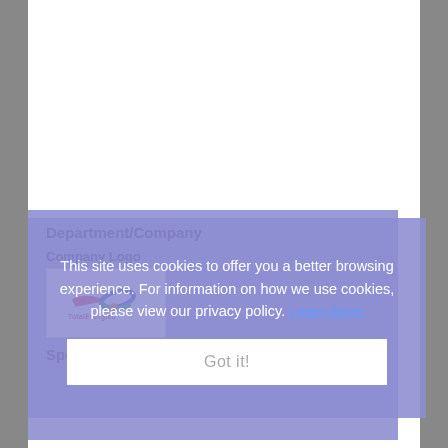Department/Company
Company Logo
[Figure (logo): TotalEnergies company logo with colored swoosh graphic and red TotalEnergies text]
Speaking At
This site uses cookies to offer you a better browsing experience. For information on how we use cookies, please view our privacy policy. Learn More
Got it!